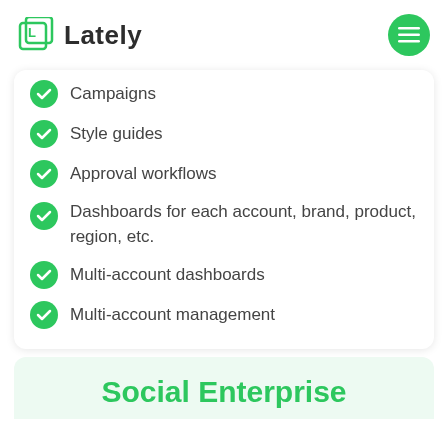[Figure (logo): Lately logo: green square icon with letter L and bold text 'Lately']
Campaigns
Style guides
Approval workflows
Dashboards for each account, brand, product, region, etc.
Multi-account dashboards
Multi-account management
Social Enterprise